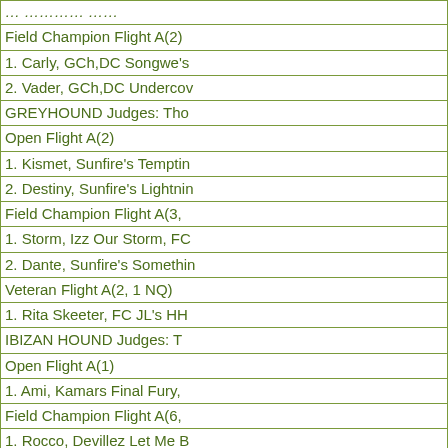Field Champion Flight A(2)
1. Carly, GCh,DC Songwe's
2. Vader, GCh,DC Undercov
GREYHOUND Judges: Tho
Open Flight A(2)
1. Kismet, Sunfire's Temptin
2. Destiny, Sunfire's Lightnin
Field Champion Flight A(3,
1. Storm, Izz Our Storm, FC
2. Dante, Sunfire's Somethin
Veteran Flight A(2, 1 NQ)
1. Rita Skeeter, FC JL's HH
IBIZAN HOUND Judges: T
Open Flight A(1)
1. Ami, Kamars Final Fury,
Field Champion Flight A(6,
1. Rocco, Devillez Let Me B
2. Tyler, T'Marras Time Wil
3. Gus, Devillez Welcome H
4. Dakota, Devillez A Lil Tr
N. Ethan, DeVillez Let's Ha
PHARAOH HOUND Judge